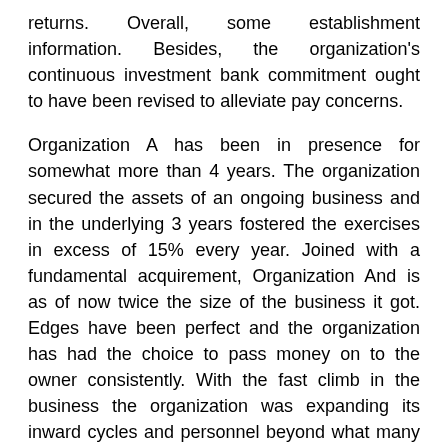returns. Overall, some establishment information. Besides, the organization's continuous investment bank commitment ought to have been revised to alleviate pay concerns.
Organization A has been in presence for somewhat more than 4 years. The organization secured the assets of an ongoing business and in the underlying 3 years fostered the exercises in excess of 15% every year. Joined with a fundamental acquirement, Organization And is as of now twice the size of the business it got. Edges have been perfect and the organization has had the choice to pass money on to the owner consistently. With the fast climb in the business the organization was expanding its inward cycles and personnel beyond what many would consider possible. Besides, existing systems and equipment ought to have been upgraded to help future turn of events. In year 4 the storm fogs began molding for Organization A. The organization expected to select additional staff to